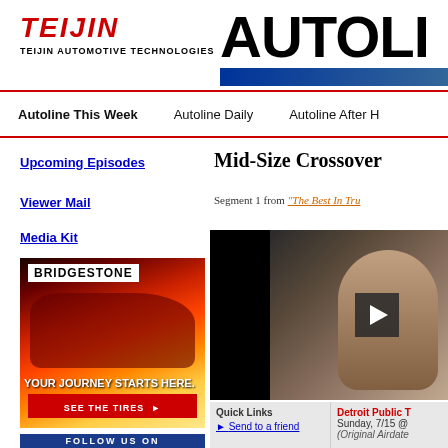[Figure (logo): Teijin Automotive Technologies logo with red italic TEIJIN text and subtitle]
[Figure (logo): Autoline network logo in large bold black text with blue bar]
Autoline This Week | Autoline Daily | Autoline After H
Upcoming Episodes
Viewer Mail
Media Kit
[Figure (photo): Bridgestone advertisement showing red sports car with text YOUR JOURNEY STARTS HERE. SEE THE TIRES]
[Figure (photo): Follow Us On social media banner in blue]
Mid-Size Crossover
Segment 1 from "The Best In Tru
[Figure (screenshot): Video thumbnail showing a woman in a studio setting with play button overlay]
Quick Links
Send to a friend
Detroit Public T
Sunday, 7/15 @
(Original Airdate